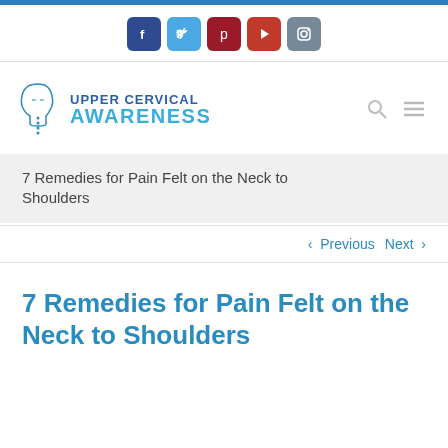[Figure (other): Social media icon buttons: Facebook, Twitter, Pinterest, YouTube, Instagram]
[Figure (logo): Upper Cervical Awareness logo with head/spine icon and text]
7 Remedies for Pain Felt on the Neck to Shoulders
< Previous   Next >
7 Remedies for Pain Felt on the Neck to Shoulders